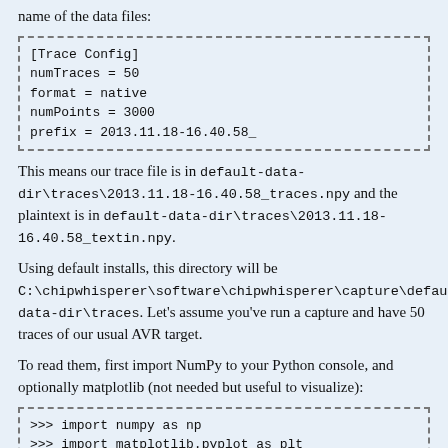name of the data files:
[Trace Config]
numTraces = 50
format = native
numPoints = 3000
prefix = 2013.11.18-16.40.58_
This means our trace file is in default-data-dir\traces\2013.11.18-16.40.58_traces.npy and the plaintext is in default-data-dir\traces\2013.11.18-16.40.58_textin.npy.
Using default installs, this directory will be C:\chipwhisperer\software\chipwhisperer\capture\default-data-dir\traces. Let's assume you've run a capture and have 50 traces of our usual AVR target.
To read them, first import NumPy to your Python console, and optionally matplotlib (not needed but useful to visualize):
>>> import numpy as np
>>> import matplotlib.pyplot as plt